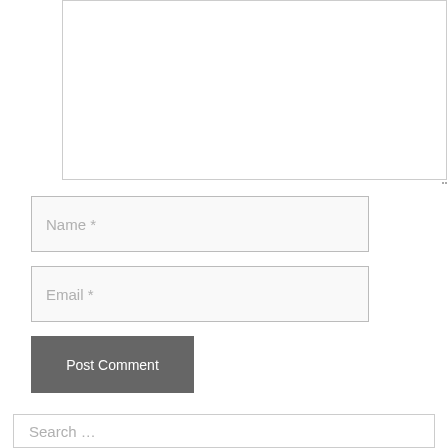[Figure (screenshot): Large textarea comment input box with light border and resize handle at bottom-right corner]
Name *
Email *
Post Comment
Search …